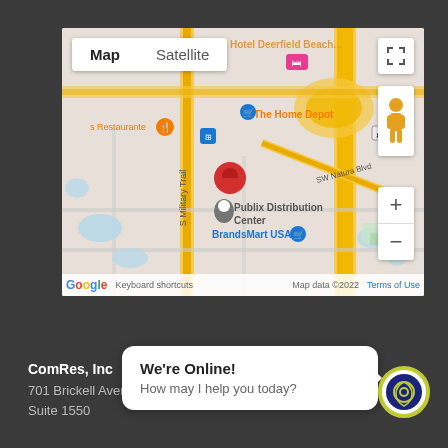[Figure (map): Google Map showing location near Deerfield Beach, FL area with red location pin, showing The Home Depot, Publix Distribution Center, BrandsMart USA, s Restaurante, S Military Trail, SW Natura Blvd, SW-10th St, Hotel Deerfield Beach label in red. Map/Satellite toggle buttons, zoom controls, street view pegman, fullscreen button, Google logo, keyboard shortcuts and Map data ©2022 Terms of Use in footer.]
ComRes, Inc
701 Brickell Avenue
Suite 1550
We're Online!
How may I help you today?